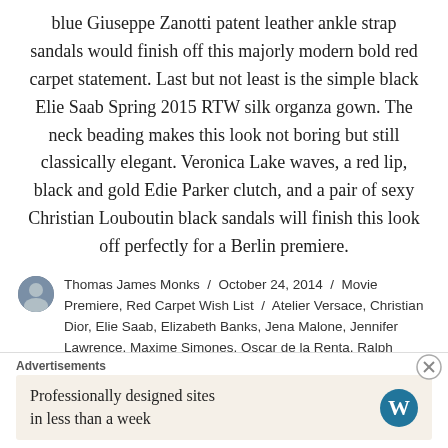blue Giuseppe Zanotti patent leather ankle strap sandals would finish off this majorly modern bold red carpet statement. Last but not least is the simple black Elie Saab Spring 2015 RTW silk organza gown. The neck beading makes this look not boring but still classically elegant. Veronica Lake waves, a red lip, black and gold Edie Parker clutch, and a pair of sexy Christian Louboutin black sandals will finish this look off perfectly for a Berlin premiere.
Thomas James Monks / October 24, 2014 / Movie Premiere, Red Carpet Wish List / Atelier Versace, Christian Dior, Elie Saab, Elizabeth Banks, Jena Malone, Jennifer Lawrence, Maxime Simones, Oscar de la Renta, Ralph Lauren, Valentino / Leave a
Advertisements
Professionally designed sites in less than a week